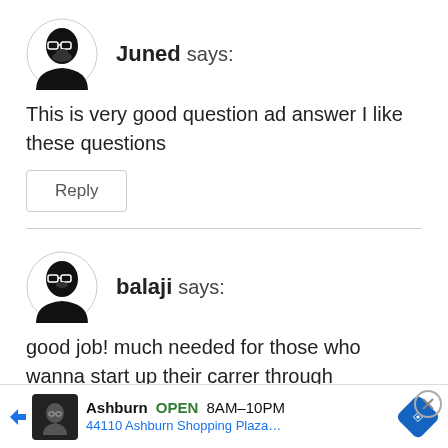[Figure (illustration): Avatar icon of a person with glasses and beard, black and white illustration]
Juned says:
This is very good question ad answer I like these questions
Reply
[Figure (illustration): Avatar icon of a person with glasses and beard, black and white illustration]
balaji says:
good job! much needed for those who wanna start up their carrer through bpo..excellent que and need
[Figure (screenshot): Advertisement banner: Ashburn OPEN 8AM-10PM, 44110 Ashburn Shopping Plaza...]